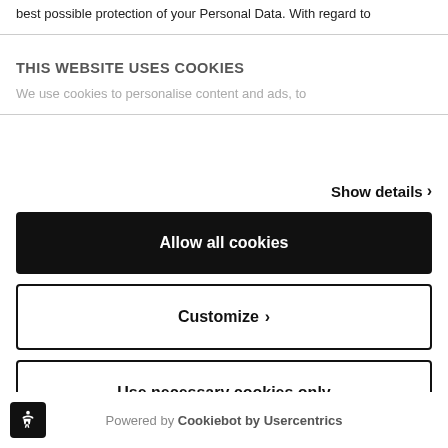best possible protection of your Personal Data. With regard to
THIS WEBSITE USES COOKIES
We use cookies to personalise content and ads, to
Show details ›
Allow all cookies
Customize ›
Use necessary cookies only
Powered by Cookiebot by Usercentrics